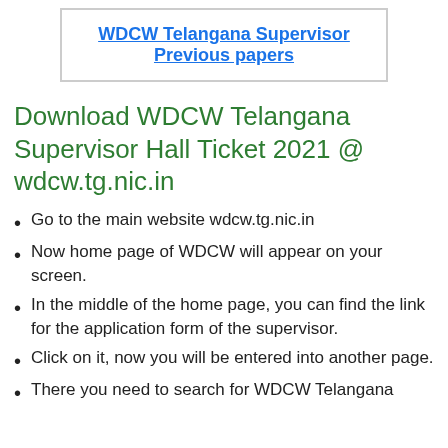WDCW Telangana Supervisor Previous papers
Download WDCW Telangana Supervisor Hall Ticket 2021 @ wdcw.tg.nic.in
Go to the main website wdcw.tg.nic.in
Now home page of WDCW will appear on your screen.
In the middle of the home page, you can find the link for the application form of the supervisor.
Click on it, now you will be entered into another page.
There you need to search for WDCW Telangana